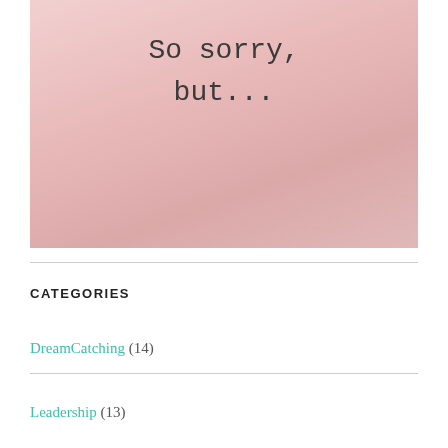[Figure (illustration): Pink gradient background box with text 'So sorry, but...' in a monospace/typewriter font, centered near the top.]
CATEGORIES
DreamCatching (14)
Leadership (13)